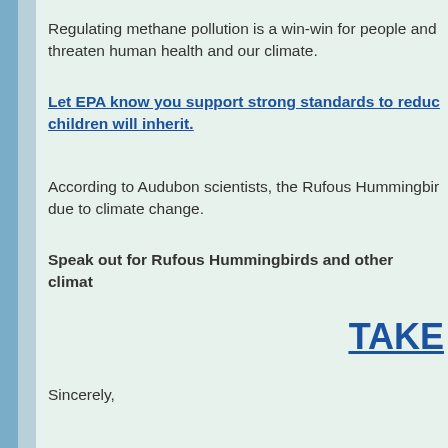Regulating methane pollution is a win-win for people and threaten human health and our climate.
Let EPA know you support strong standards to reduc children will inherit.
According to Audubon scientists, the Rufous Hummingbir due to climate change.
Speak out for Rufous Hummingbirds and other climat
TAKE
Sincerely,
David Yarnold,